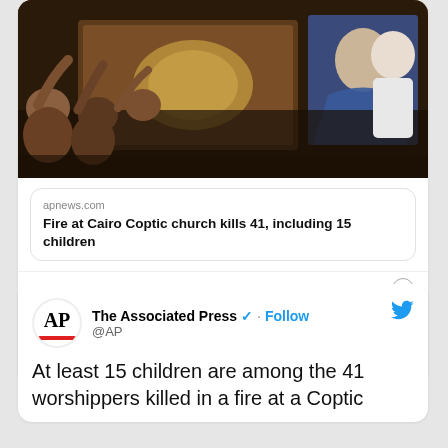[Figure (photo): News photo showing people mourning or carrying a coffin, with a religious image visible. AP News article preview for Cairo Coptic church fire.]
apnews.com
Fire at Cairo Coptic church kills 41, including 15 children
4:15 PM · Aug 14, 2022
93  Reply  Copy link
Read 12 replies
The Associated Press @AP · Follow
At least 15 children are among the 41 worshippers killed in a fire at a Coptic